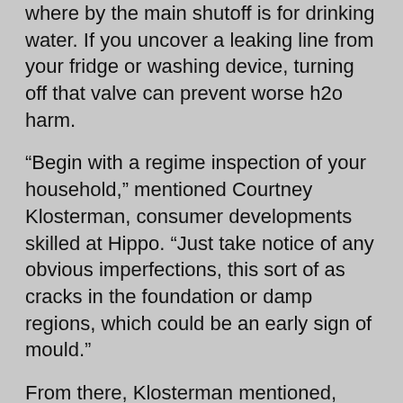where by the main shutoff is for drinking water. If you uncover a leaking line from your fridge or washing device, turning off that valve can prevent worse h2o harm.
“Begin with a regime inspection of your household,” mentioned Courtney Klosterman, consumer developments skilled at Hippo. “Just take notice of any obvious imperfections, this sort of as cracks in the foundation or damp regions, which could be an early sign of mould.”
From there, Klosterman mentioned, build a record of will have to-dos and wonderful-to-dos, so you can operate by means of your checklist about time.
“Prioritize challenges that are recognised to be costlier to maintenance these as water leaks and …